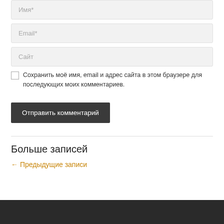Имя*
Email*
Сайт
Сохранить моё имя, email и адрес сайта в этом браузере для последующих моих комментариев.
Отправить комментарий
Больше записей
← Предыдущие записи